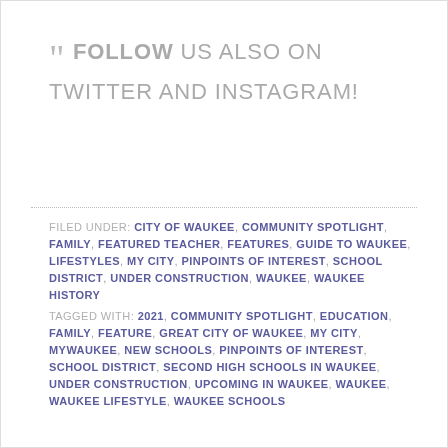" FOLLOW US ALSO ON TWITTER AND INSTAGRAM!
FILED UNDER: CITY OF WAUKEE, COMMUNITY SPOTLIGHT, FAMILY, FEATURED TEACHER, FEATURES, GUIDE TO WAUKEE, LIFESTYLES, MY CITY, PINPOINTS OF INTEREST, SCHOOL DISTRICT, UNDER CONSTRUCTION, WAUKEE, WAUKEE HISTORY
TAGGED WITH: 2021, COMMUNITY SPOTLIGHT, EDUCATION, FAMILY, FEATURE, GREAT CITY OF WAUKEE, MY CITY, MYWAUKEE, NEW SCHOOLS, PINPOINTS OF INTEREST, SCHOOL DISTRICT, SECOND HIGH SCHOOLS IN WAUKEE, UNDER CONSTRUCTION, UPCOMING IN WAUKEE, WAUKEE, WAUKEE LIFESTYLE, WAUKEE SCHOOLS